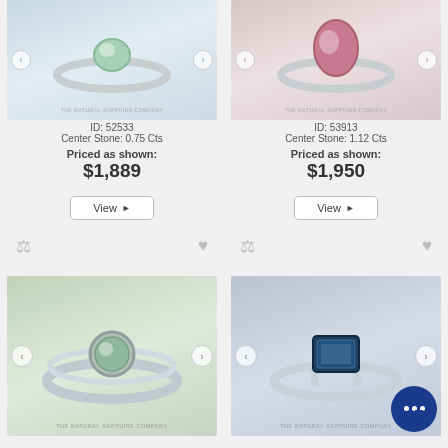[Figure (photo): Ring product image - left top card, green sapphire ring on white background with 'THE NATURAL SAPPHIRE COMPANY' watermark]
ID: 52533
Center Stone: 0.75 Cts
Priced as shown:
$1,889
[Figure (other): View button with arrow for product ID 52533]
[Figure (photo): Ring product image - right top card, pink/ruby ring with 'THE NATURAL SAPPHIRE COMPANY' watermark]
ID: 53913
Center Stone: 1.12 Cts
Priced as shown:
$1,950
[Figure (other): View button with arrow for product ID 53913]
[Figure (photo): Bottom left ring product image - green/teal sapphire bezel set ring with 'THE NATURAL SAPPHIRE COMPANY' watermark]
[Figure (photo): Bottom right ring product image - dark blue/teal sapphire emerald cut ring with 'THE NATURAL SAPPHIRE COMPANY' watermark and chat bubble icon]